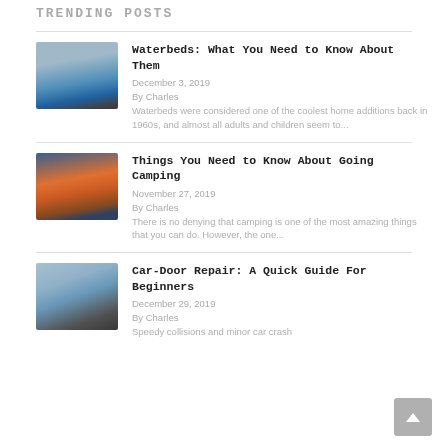TRENDING POSTS
[Figure (photo): A waterbed with blue water-filled mattress]
Waterbeds: What You Need to Know About Them
December 3, 2019
By Charles
Waterbeds were considered one of the coolest home additions back in 1960s, and almost all adults and children seem to...
[Figure (photo): An orange camping tent on a beach at sunset]
Things You Need to Know About Going Camping
November 27, 2019
By Charles
There is no denying that camping is one of the most amazing things that you can do. However, the one...
[Figure (photo): A dented car door with blue paint]
Car-Door Repair: A Quick Guide For Beginners
December 29, 2019
By Charles
Speedy collisions and minor car crash...